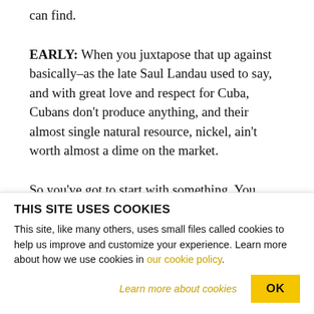can find.
EARLY: When you juxtapose that up against basically–as the late Saul Landau used to say, and with great love and respect for Cuba, Cubans don't produce anything, and their almost single natural resource, nickel, ain't worth almost a dime on the market.
So you've got to start with something. You know, the road to paradise means you've got to walk through
THIS SITE USES COOKIES
This site, like many others, uses small files called cookies to help us improve and customize your experience. Learn more about how we use cookies in our cookie policy.
Learn more about cookies
OK